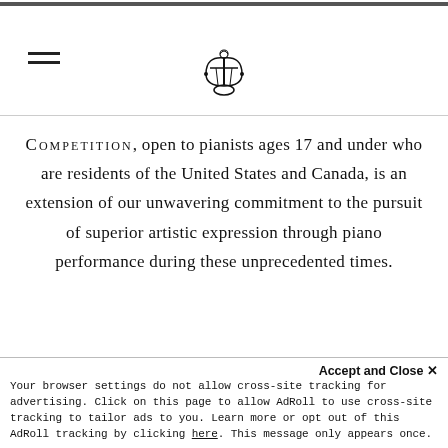Navigation header with hamburger menu and lyre logo
COMPETITION, open to pianists ages 17 and under who are residents of the United States and Canada, is an extension of our unwavering commitment to the pursuit of superior artistic expression through piano performance during these unprecedented times.
PRIZES AND RECOGNITION
Accept and Close ×
Your browser settings do not allow cross-site tracking for advertising. Click on this page to allow AdRoll to use cross-site tracking to tailor ads to you. Learn more or opt out of this AdRoll tracking by clicking here. This message only appears once.